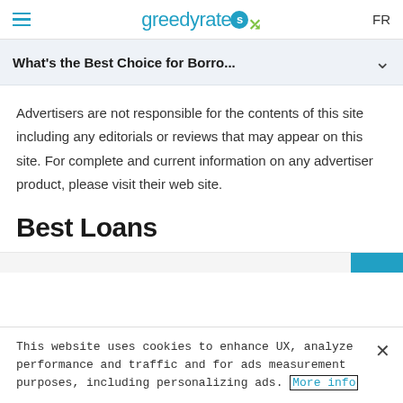greedyrates FR
What's the Best Choice for Borro...
Advertisers are not responsible for the contents of this site including any editorials or reviews that may appear on this site. For complete and current information on any advertiser product, please visit their web site.
Best Loans
This website uses cookies to enhance UX, analyze performance and traffic and for ads measurement purposes, including personalizing ads. More info